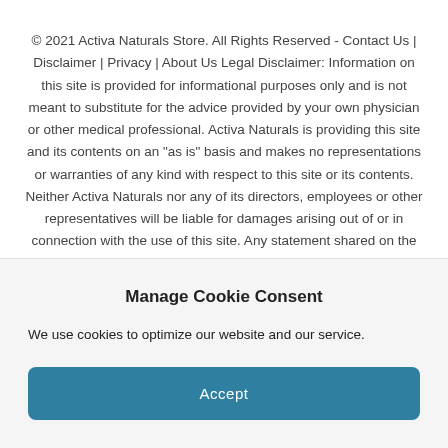© 2021 Activa Naturals Store. All Rights Reserved - Contact Us | Disclaimer | Privacy | About Us Legal Disclaimer: Information on this site is provided for informational purposes only and is not meant to substitute for the advice provided by your own physician or other medical professional. Activa Naturals is providing this site and its contents on an "as is" basis and makes no representations or warranties of any kind with respect to this site or its contents. Neither Activa Naturals nor any of its directors, employees or other representatives will be liable for damages arising out of or in connection with the use of this site. Any statement shared on the website are purely for information purpose only and these
Manage Cookie Consent
We use cookies to optimize our website and our service.
Accept